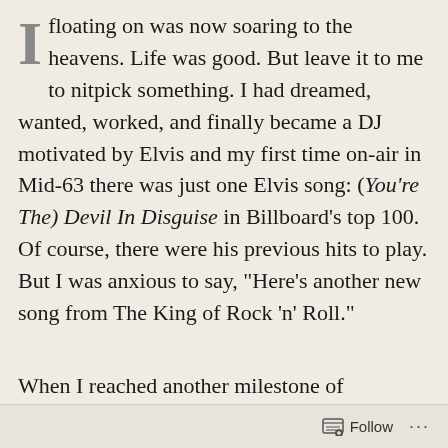floating on was now soaring to the heavens. Life was good. But leave it to me to nitpick something. I had dreamed, wanted, worked, and finally became a DJ motivated by Elvis and my first time on-air in Mid-63 there was just one Elvis song: (You're The) Devil In Disguise in Billboard's top 100. Of course, there were his previous hits to play. But I was anxious to say, "Here's another new song from The King of Rock 'n' Roll."
When I reached another milestone of becoming a DJ in his hometown, in 1964, there was no Elvis on the Top 100!  Not a one. That was not a total
Follow ···